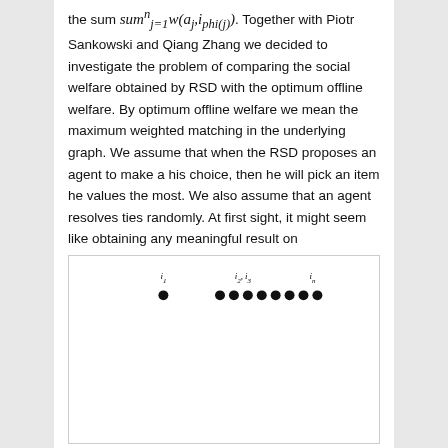the sum sum_j=1^n w(a_j, i_phi(j)). Together with Piotr Sankowski and Qiang Zhang we decided to investigate the problem of comparing the social welfare obtained by RSD with the optimum offline welfare. By optimum offline welfare we mean the maximum weighted matching in the underlying graph. We assume that when the RSD proposes an agent to make a his choice, then he will pick an item he values the most. We also assume that an agent resolves ties randomly. At first sight, it might seem like obtaining any meaningful result on approximation factor of RSD is not possible. Just look at the example in the Figure.
[Figure (illustration): A diagram showing items i_1 and i_2, i_3, ..., i_n represented as dots in a row, with labels above them.]